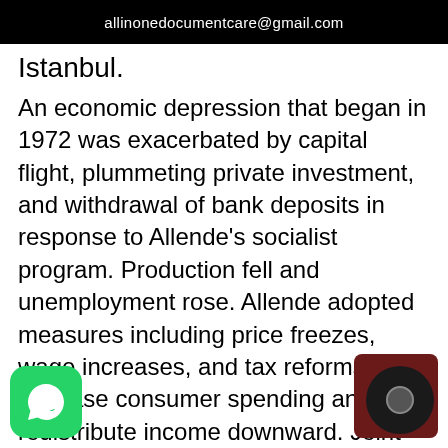allinonedocumentcare@gmail.com
Istanbul.
An economic depression that began in 1972 was exacerbated by capital flight, plummeting private investment, and withdrawal of bank deposits in response to Allende's socialist program. Production fell and unemployment rose. Allende adopted measures including price freezes, wage increases, and tax reforms, to increase consumer spending and redistribute income downward. Joint public-private public works projects helped reduce unemployment. Much of the banking sector was nationalized. Many enterprises within the copper, coal, iron, nitrate, and steel industries expropriated, nationalized, or subjected to state intervention. Industrial output increased